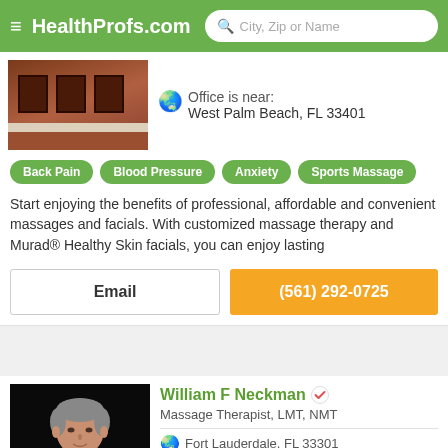HealthProfs.com — City, Zip or Name search
[Figure (photo): Building exterior photo showing brick facade with windows and ledge]
Office is near:
West Palm Beach, FL 33401
Back Pain
Blood Pressure
Anxiety
Sports Massage
Start enjoying the benefits of professional, affordable and convenient massages and facials. With customized massage therapy and Murad® Healthy Skin facials, you can enjoy lasting
Email
(561) 292-0725
[Figure (photo): Headshot of William F Neckman, middle-aged man with gray hair against dark background]
William F Neckman
Massage Therapist, LMT, NMT
Fort Lauderdale, FL 33301